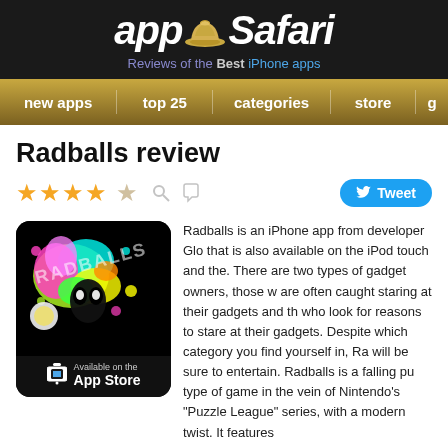appSafari - Reviews of the Best iPhone apps
new apps   top 25   categories   store   g
Radballs review
★★★★☆
[Figure (screenshot): Radballs app icon/screenshot showing colorful splatter art on black background with Available on the App Store badge]
Radballs is an iPhone app from developer Glo that is also available on the iPod touch and the. There are two types of gadget owners, those w are often caught staring at their gadgets and th who look for reasons to stare at their gadgets. Despite which category you find yourself in, Ra will be sure to entertain. Radballs is a falling pu type of game in the vein of Nintendo's "Puzzle League" series, with a modern twist. It features rhythm aspect that is seamlessly implemented and urges you to crank